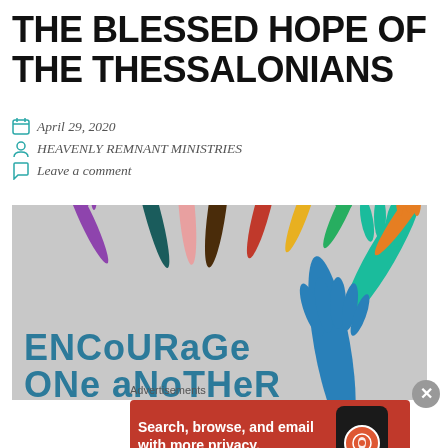THE BLESSED HOPE OF THE THESSALONIANS
April 29, 2020
HEAVENLY REMNANT MINISTRIES
Leave a comment
[Figure (illustration): An illustration showing colorful hands reaching upward with text 'ENCoURaGe ONe aNoTHeR' at the bottom]
Advertisements
[Figure (infographic): DuckDuckGo advertisement banner: 'Search, browse, and email with more privacy. All in One Free App' with a phone image and DuckDuckGo logo]